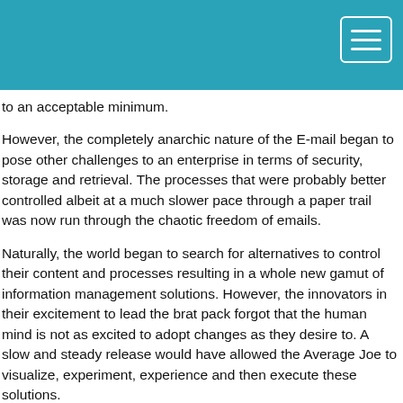to an acceptable minimum.
However, the completely anarchic nature of the E-mail began to pose other challenges to an enterprise in terms of security, storage and retrieval. The processes that were probably better controlled albeit at a much slower pace through a paper trail was now run through the chaotic freedom of emails.
Naturally, the world began to search for alternatives to control their content and processes resulting in a whole new gamut of information management solutions. However, the innovators in their excitement to lead the brat pack forgot that the human mind is not as excited to adopt changes as they desire to. A slow and steady release would have allowed the Average Joe to visualize, experiment, experience and then execute these solutions.
Today, within 4 days, as I start to crib about the unavailability of Google + on Blackberry, I must also be honest that I may not have appreciated too many features from Google + in one go. Just as I started on Facebook when it was not as feature rich as it is now and I had a